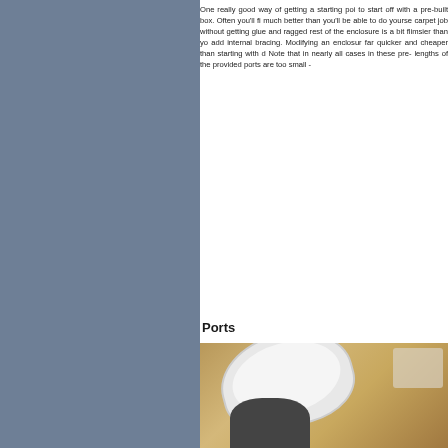One really good way of getting a starting poi to start off with a pre-built box. Often you'll fi much better than you'll be able to do yourse carpet job without getting glue and ragged rest of the enclosure is a bit flimsier than yo add internal bracing. Modifying an enclosur far quicker and cheaper than starting with d Note that in nearly all cases in these pre- lengths of the provided ports are too small -
Ports
[Figure (photo): Photo of PVC pipes/tubes on a wooden floor surface, showing white and dark pipe sections]